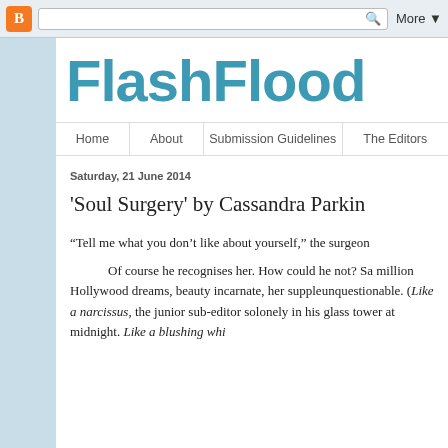Blogger | More ▾
FlashFlood
Home | About | Submission Guidelines | The Editors
Saturday, 21 June 2014
'Soul Surgery' by Cassandra Parkin
“Tell me what you don’t like about yourself,” the surgeon
Of course he recognises her. How could he not? S... a million Hollywood dreams, beauty incarnate, her supple... unquestionable. (Like a narcissus, the junior sub-editor so... lonely in his glass tower at midnight. Like a blushing whi...